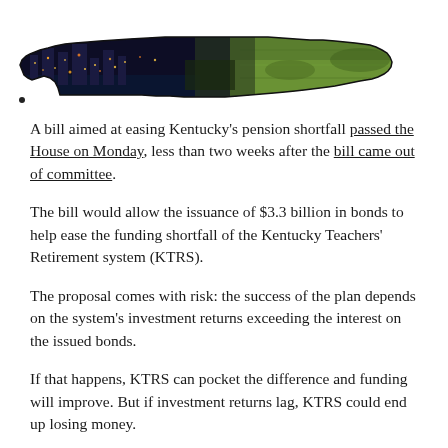[Figure (illustration): Shape of the state of Kentucky filled with a photographic image showing a city skyline at night on the left and green fields on the right.]
A bill aimed at easing Kentucky's pension shortfall passed the House on Monday, less than two weeks after the bill came out of committee.
The bill would allow the issuance of $3.3 billion in bonds to help ease the funding shortfall of the Kentucky Teachers' Retirement system (KTRS).
The proposal comes with risk: the success of the plan depends on the system's investment returns exceeding the interest on the issued bonds.
If that happens, KTRS can pocket the difference and funding will improve. But if investment returns lag, KTRS could end up losing money.